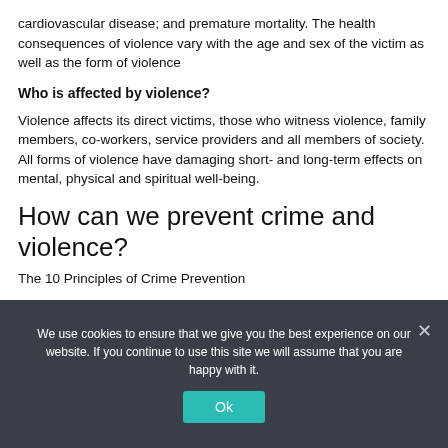cardiovascular disease; and premature mortality. The health consequences of violence vary with the age and sex of the victim as well as the form of violence
Who is affected by violence?
Violence affects its direct victims, those who witness violence, family members, co-workers, service providers and all members of society. All forms of violence have damaging short- and long-term effects on mental, physical and spiritual well-being.
How can we prevent crime and violence?
The 10 Principles of Crime Prevention
We use cookies to ensure that we give you the best experience on our website. If you continue to use this site we will assume that you are happy with it.